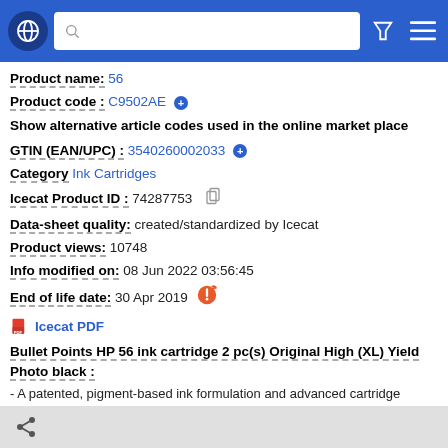Navigation bar with globe icon, search bar, filter icon, and menu icon
Product name: 56
Product code : C9502AE
Show alternative article codes used in the online market place
GTIN (EAN/UPC) : 3540260002033
Category Ink Cartridges
Icecat Product ID : 74287753
Data-sheet quality: created/standardized by Icecat
Product views: 10748
Info modified on: 08 Jun 2022 03:56:45
End of life date: 30 Apr 2019
Icecat PDF
Bullet Points HP 56 ink cartridge 2 pc(s) Original High (XL) Yield Photo black :
- A patented, pigment-based ink formulation and advanced cartridge